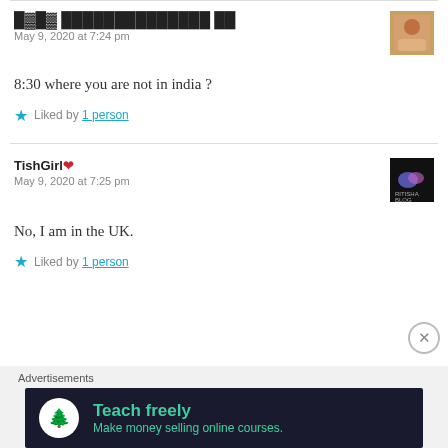ऐसा भगवान्तुल्यपदम् से (Hindi script commenter name)
May 9, 2020 at 7:24 pm
8:30 where you are not in india ?
Liked by 1 person
TishGirl❤
May 9, 2020 at 7:25 pm
No, I am in the UK.
Liked by 1 person
Advertisements
Teach freely Make money selling online courses.